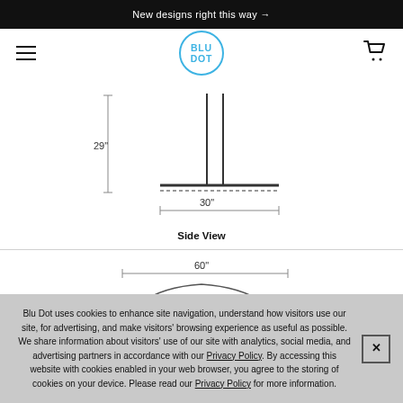New designs right this way →
[Figure (logo): Blu Dot circular logo with text BLU DOT in blue outline circle]
[Figure (engineering-diagram): Side view engineering diagram of a table showing height 29 inches and width 30 inches with dimension lines]
Side View
[Figure (engineering-diagram): Top/plan view engineering diagram showing width of 60 inches with a circular table top arc visible]
Blu Dot uses cookies to enhance site navigation, understand how visitors use our site, for advertising, and make visitors' browsing experience as useful as possible. We share information about visitors' use of our site with analytics, social media, and advertising partners in accordance with our Privacy Policy. By accessing this website with cookies enabled in your web browser, you agree to the storing of cookies on your device. Please read our Privacy Policy for more information.